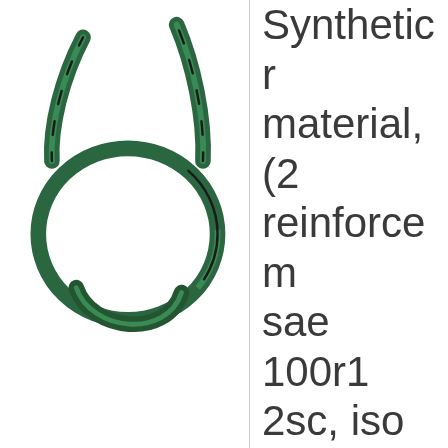[Figure (photo): Coiled green hydraulic hose / synthetic reinforced hose shown as a circular coil with two ends extending upward, photographed against a white background.]
Synthetic r material, (2 reinforcem sae 100r1 2sc, iso 11 standards, specificatio hoses by B Weatherhe discount p Part Nr: H1